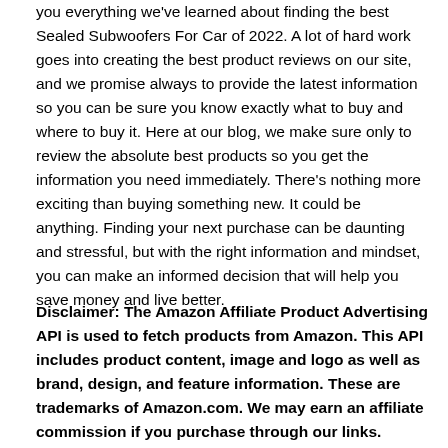you everything we've learned about finding the best Sealed Subwoofers For Car of 2022. A lot of hard work goes into creating the best product reviews on our site, and we promise always to provide the latest information so you can be sure you know exactly what to buy and where to buy it. Here at our blog, we make sure only to review the absolute best products so you get the information you need immediately. There's nothing more exciting than buying something new. It could be anything. Finding your next purchase can be daunting and stressful, but with the right information and mindset, you can make an informed decision that will help you save money and live better.
Disclaimer: The Amazon Affiliate Product Advertising API is used to fetch products from Amazon. This API includes product content, image and logo as well as brand, design, and feature information. These are trademarks of Amazon.com. We may earn an affiliate commission if you purchase through our links.